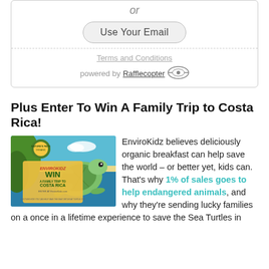or
Use Your Email
Terms and Conditions
powered by Rafflecopter
Plus Enter To Win A Family Trip to Costa Rica!
[Figure (photo): EnviroKidz promotional image showing a cartoon sea turtle underwater with tropical scene. Text reads: ENVIROKIDZ WIN A FAMILY TRIP TO COSTA RICA ENTER AT EnviroKidz.com]
EnviroKidz believes deliciously organic breakfast can help save the world – or better yet, kids can. That's why 1% of sales goes to help endangered animals, and why they're sending lucky families on a once in a lifetime experience to save the Sea Turtles in